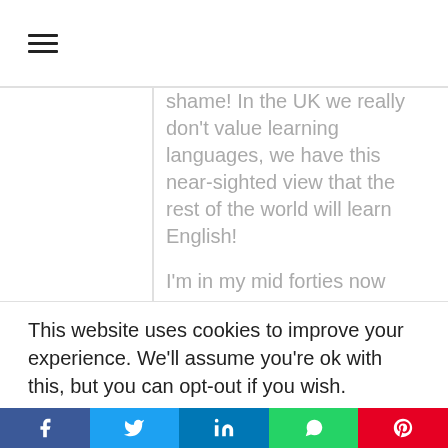☰ (hamburger menu icon)
shame! In the UK we really don't value learning languages, we have this near-sighted view that the rest of the world will learn English!
I'm in my mid forties now attempting to learn French and it's a slow uphill struggle, but I can now get by in French (just about) and it might stave off Alzheimers!
When we get back to the UK in
This website uses cookies to improve your experience. We'll assume you're ok with this, but you can opt-out if you wish.
Facebook | Twitter | LinkedIn | WhatsApp | Pinterest